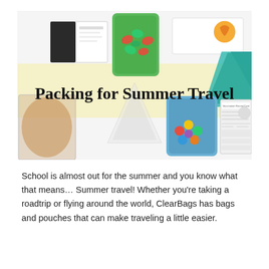[Figure (illustration): A promotional banner image showing various clear bags and pouches including a green stand-up pouch with candy, clear poly bags, a blue stand-up pouch with candy, a vaccination record card, and other packaging products. A large yellow/cream highlighted band across the middle contains the title text 'Packing for Summer Travel' in large black serif font.]
School is almost out for the summer and you know what that means… Summer travel! Whether you're taking a roadtrip or flying around the world, ClearBags has bags and pouches that can make traveling a little easier.